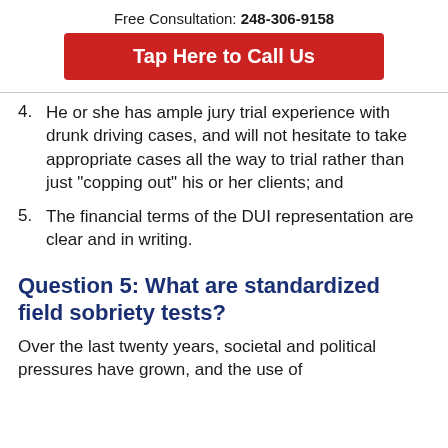Free Consultation: 248-306-9158
Tap Here to Call Us
4. He or she has ample jury trial experience with drunk driving cases, and will not hesitate to take appropriate cases all the way to trial rather than just "copping out" his or her clients; and
5. The financial terms of the DUI representation are clear and in writing.
Question 5: What are standardized field sobriety tests?
Over the last twenty years, societal and political pressures have grown, and the use of